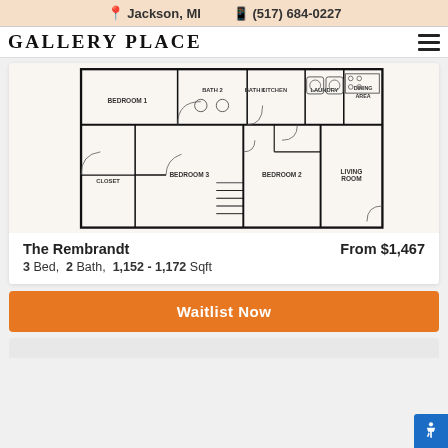Jackson, MI  (517) 684-0227
Gallery Place
[Figure (engineering-diagram): Apartment floor plan for The Rembrandt showing 3 bedrooms, 2 bathrooms, laundry, kitchen, dining area, living room, and closet]
The Rembrandt    From $1,467
3 Bed,  2 Bath,  1,152 - 1,172 Sqft
Waitlist Now